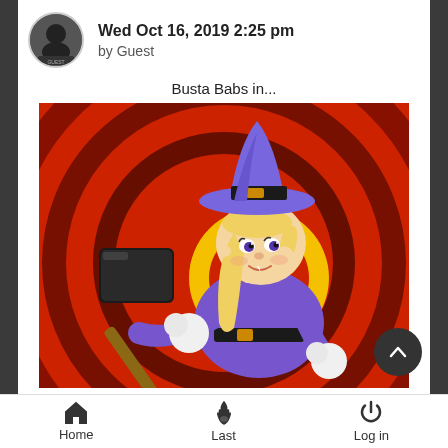Wed Oct 16, 2019 2:25 pm by Guest
Busta Babs in...
[Figure (illustration): Cartoon illustration of a female rabbit character dressed as a witch in purple outfit and hat with a black buckle, holding a large mallet/hammer, set against a red and black concentric circles background with a yellow circle center. Style resembles classic animation.]
Home  Last  Log in